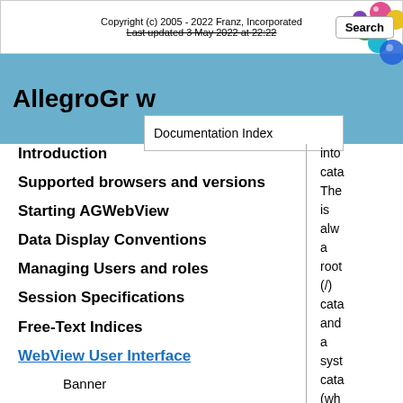Copyright (c) 2005 - 2022 Franz, Incorporated
Last updated 3 May 2022 at 22:22
AllegroGraph Documentation Index
Introduction
Supported browsers and versions
Starting AGWebView
Data Display Conventions
Managing Users and roles
Session Specifications
Free-Text Indices
WebView User Interface
Banner
The settings page
User Management Page
The Requests page
into cata The is alw a root (/) cata and a syst cata (wh is for inte use